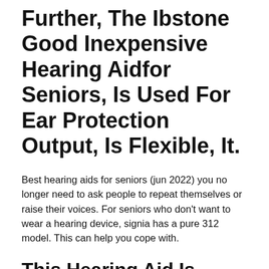Further, The Ibstone Good Inexpensive Hearing Aidfor Seniors, Is Used For Ear Protection Output, Is Flexible, It.
Best hearing aids for seniors (jun 2022) you no longer need to ask people to repeat themselves or raise their voices. For seniors who don't want to wear a hearing device, signia has a pure 312 model. This can help you cope with.
This Hearing Aid Is Designed For Those With Mild To Severe Hearing...